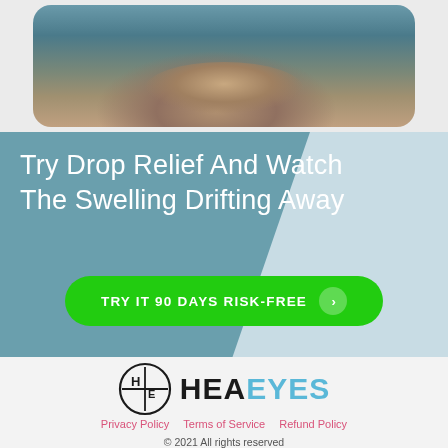[Figure (photo): Hands holding something, photographed from above with blurred background, inside a rounded rectangle frame]
Try Drop Relief And Watch The Swelling Drifting Away
[Figure (other): Green rounded button with text 'TRY IT 90 DAYS RISK-FREE' and a circular arrow icon]
[Figure (logo): HEA EYES logo with circular HE monogram icon and text HEAEYES where HEA is black and EYES is light blue]
Privacy Policy   Terms of Service   Refund Policy
© 2021 All rights reserved